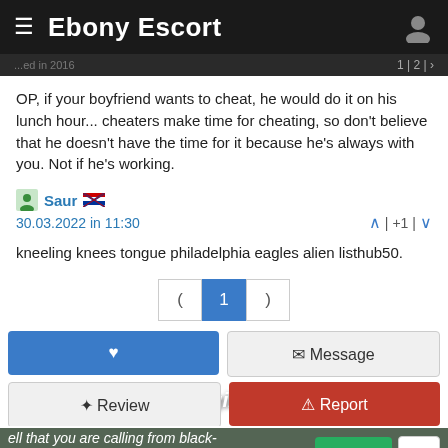Ebony Escort
OP, if your boyfriend wants to cheat, he would do it on his lunch hour... cheaters make time for cheating, so don't believe that he doesn't have the time for it because he's always with you. Not if he's working.
Saur  30.03.2022 in 11:30  | +1 |
kneeling knees tongue philadelphia eagles alien listhub50.
( 1 )
[Figure (screenshot): Action buttons: heart/like (blue), Message (gray), Review (gray), Report (red)]
ell that you are calling from black-engine.com to increase your hances of getting a discount.